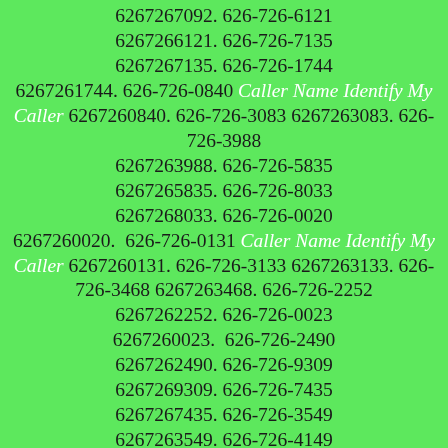6267267092. 626-726-6121 6267266121. 626-726-7135 6267267135. 626-726-1744 6267261744. 626-726-0840 Caller Name Identify My Caller 6267260840. 626-726-3083 6267263083. 626-726-3988 6267263988. 626-726-5835 6267265835. 626-726-8033 6267268033. 626-726-0020 6267260020.  626-726-0131 Caller Name Identify My Caller 6267260131. 626-726-3133 6267263133. 626-726-3468 6267263468. 626-726-2252 6267262252. 626-726-0023 6267260023.  626-726-2490 6267262490. 626-726-9309 6267269309. 626-726-7435 6267267435. 626-726-3549 6267263549. 626-726-4149 6267264149. 626-726-7652 6267267652. 626-726-3110 6267263110. 626-726-5341 6267265341. 626-726-2684 6267262684. 626-726-7376 6267267376. 626-726-3402 6267263402. 626-726-1704 6267261704. 626-726-1147